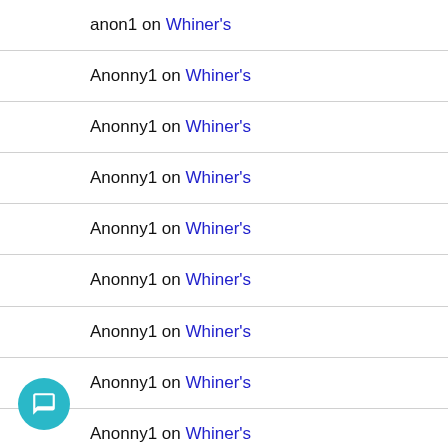anon1 on Whiner's
Anonny1 on Whiner's
Anonny1 on Whiner's
Anonny1 on Whiner's
Anonny1 on Whiner's
Anonny1 on Whiner's
Anonny1 on Whiner's
Anonny1 on Whiner's
Anonny1 on Whiner's